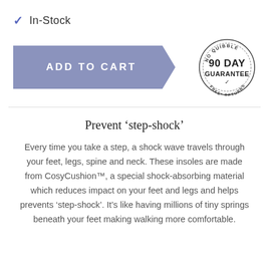✓ In-Stock
[Figure (other): Add to Cart button (arrow-shaped, medium blue-grey) and No Quibble 90 Day Guarantee Free Returns circular badge]
Prevent 'step-shock'
Every time you take a step, a shock wave travels through your feet, legs, spine and neck. These insoles are made from CosyCushion™, a special shock-absorbing material which reduces impact on your feet and legs and helps prevents 'step-shock'. It's like having millions of tiny springs beneath your feet making walking more comfortable.